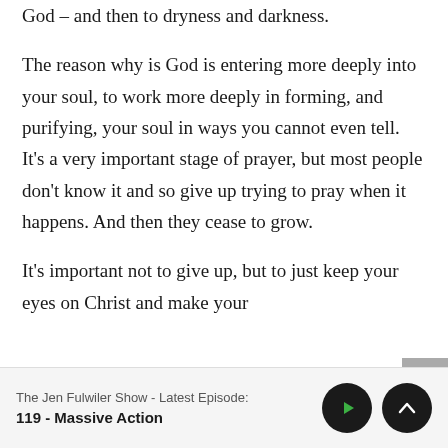God – and then to dryness and darkness.

The reason why is God is entering more deeply into your soul, to work more deeply in forming, and purifying, your soul in ways you cannot even tell. It's a very important stage of prayer, but most people don't know it and so give up trying to pray when it happens. And then they cease to grow.

It's important not to give up, but to just keep your eyes on Christ and make your
The Jen Fulwiler Show - Latest Episode:
119 - Massive Action